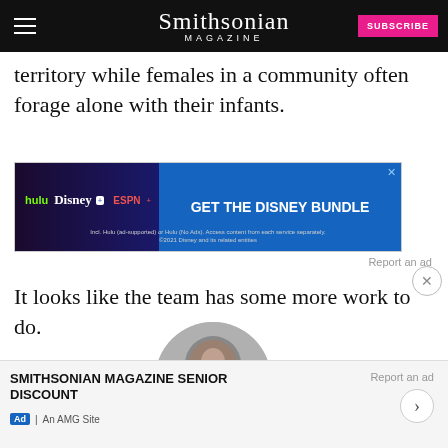Smithsonian MAGAZINE
territory while females in a community often forage alone with their infants.
[Figure (other): Disney Bundle advertisement banner showing Hulu, Disney+, ESPN+ logos with text 'GET THE DISNEY BUNDLE'. Incl. Hulu (ad-supported) or Hulu (No Ads). Access content from each service separately. ©2021 Disney and its related entities]
Report an ad
It looks like the team has some more work to do.
[Figure (photo): Circular author photo of Erin Wayman, a woman smiling]
Erin Wayman
SMITHSONIAN MAGAZINE SENIOR DISCOUNT | Ad | An AMG Site